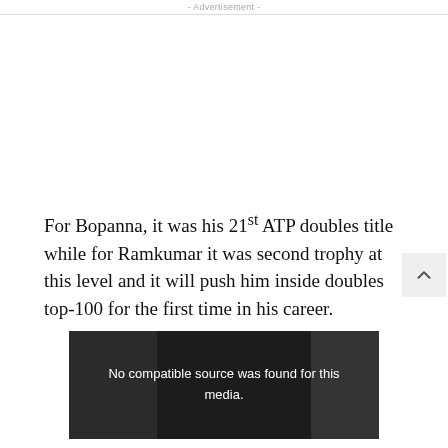- Advertisement -
For Bopanna, it was his 21st ATP doubles title while for Ramkumar it was second trophy at this level and it will push him inside doubles top-100 for the first time in his career.
[Figure (screenshot): Video player showing error message: No compatible source was found for this media.]